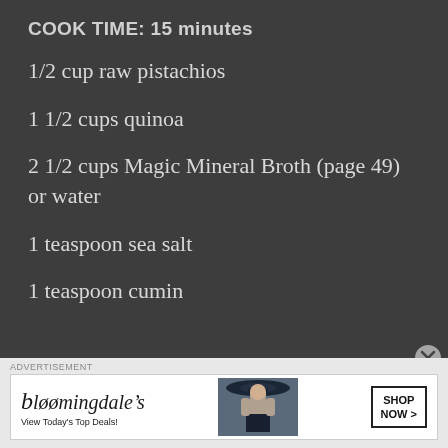COOK TIME: 15 minutes
1/2 cup raw pistachios
1 1/2 cups quinoa
2 1/2 cups Magic Mineral Broth (page 49) or water
1 teaspoon sea salt
1 teaspoon cumin
[Figure (infographic): Bloomingdales advertisement banner: 'bloomingdales - View Today's Top Deals!' with a woman in a wide-brim hat and a SHOP NOW button]